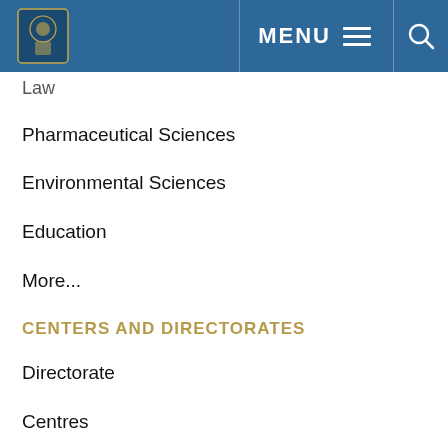MENU [logo]
Law
Pharmaceutical Sciences
Environmental Sciences
Education
More...
CENTERS AND DIRECTORATES
Directorate
Centres
ADMISSION
Undergraduate
Postgraduate
HEALTH & SAFETY SERVICES